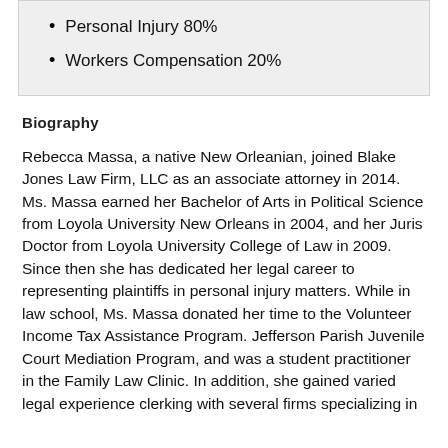Personal Injury 80%
Workers Compensation 20%
Biography
Rebecca Massa, a native New Orleanian, joined Blake Jones Law Firm, LLC as an associate attorney in 2014. Ms. Massa earned her Bachelor of Arts in Political Science from Loyola University New Orleans in 2004, and her Juris Doctor from Loyola University College of Law in 2009. Since then she has dedicated her legal career to representing plaintiffs in personal injury matters. While in law school, Ms. Massa donated her time to the Volunteer Income Tax Assistance Program. Jefferson Parish Juvenile Court Mediation Program, and was a student practitioner in the Family Law Clinic. In addition, she gained varied legal experience clerking with several firms specializing in